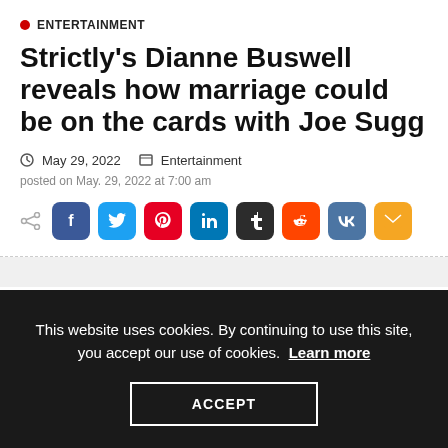ENTERTAINMENT
Strictly's Dianne Buswell reveals how marriage could be on the cards with Joe Sugg
May 29, 2022   Entertainment
posted on May. 29, 2022 at 7:00 am
[Figure (other): Social share buttons: Facebook, Twitter, Pinterest, LinkedIn, Tumblr, Reddit, VK, Email]
This website uses cookies. By continuing to use this site, you accept our use of cookies. Learn more
ACCEPT